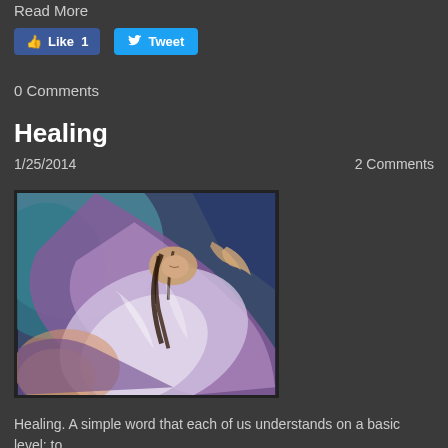Read More
[Figure (other): Facebook Like button (count: 1) and Twitter Tweet button]
0 Comments
Healing
1/25/2014    2 Comments
[Figure (illustration): A painting of a woman with dark hair lying down, surrounded by flowing purple, blue, and white fabric, with hands reaching toward her — a spiritual healing scene]
Healing. A simple word that each of us understands on a basic level: to